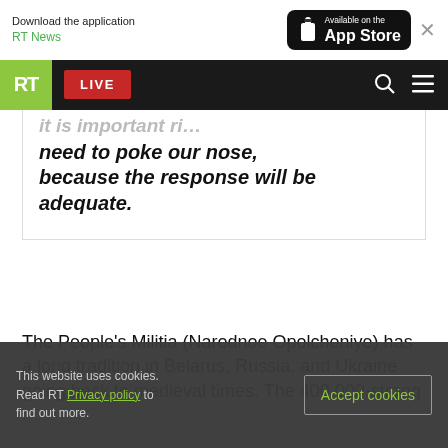Download the application RT News — Available on the App Store
RT LIVE
need to poke our nose, because the response will be adequate.
The People's Militia (Narodnoe Opolcheniye) has a long tradition in Belarus, Russia, and Ukraine going back to medieval times. The 400,000-strong
This website uses cookies. Read RT Privacy policy to find out more.